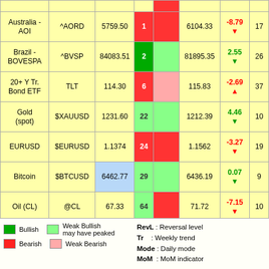| Name | Symbol | RevL | Rank | Tr | Ref | MoM | Extra |
| --- | --- | --- | --- | --- | --- | --- | --- |
| Australia - AOI | ^AORD | 5759.50 | 1 |  | 6104.33 | -8.79 ▼ | 17 |
| Brazil - BOVESPA | ^BVSP | 84083.51 | 2 |  | 81895.35 | 2.55 ▼ | 26 |
| 20+ Y Tr. Bond ETF | TLT | 114.30 | 6 |  | 115.83 | -2.69 ▲ | 37 |
| Gold (spot) | $XAUUSD | 1231.60 | 22 |  | 1212.39 | 4.46 ▼ | 10 |
| EURUSD | $EURUSD | 1.1374 | 24 |  | 1.1562 | -3.27 ▼ | 19 |
| Bitcoin | $BTCUSD | 6462.77 | 29 |  | 6436.19 | 0.07 ▼ | 9 |
| Oil (CL) | @CL | 67.33 | 64 |  | 71.72 | -7.15 ▼ | 10 |
| Wheat (ZW) | @ZW | 487.25 | 6 |  | 517.40 | -2.28 ▼ | 3 |
Legend: Bullish (dark green), Weak Bullish may have peaked (light green), Bearish (red), Weak Bearish (light pink). RevL: Reversal level, Tr: Weekly trend, Mode: Daily mode, MoM: MoM indicator